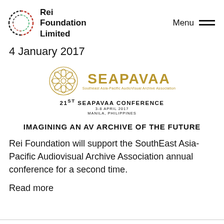Rei Foundation Limited | Menu
4 January 2017
[Figure (logo): SEAPAVAA logo with ornate gold flower circle, SEAPAVAA text in gold, subtitle 'Southeast Asia-Pacific Audiovisual Archive Association']
21ST SEAPAVAA CONFERENCE
3-8 APRIL 2017
MANILA, PHILIPPINES
IMAGINING AN AV ARCHIVE OF THE FUTURE
Rei Foundation will support the SouthEast Asia-Pacific Audiovisual Archive Association annual conference for a second time.
Read more